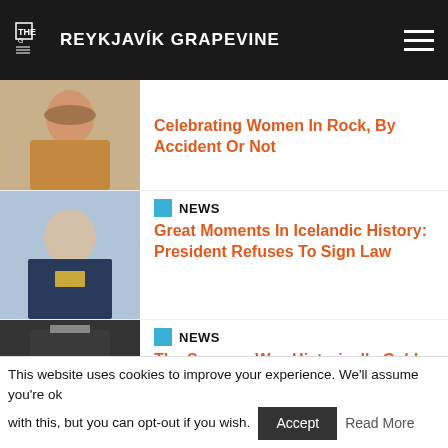THE REYKJAVIK GRAPEVINE
Celebrating Women In Rock, By Accident Or Not
NEWS
Great Moments In Icelandic History: President Refuses To Sign Law
NEWS
The Summer Was Historically Cold, Met Office Says
FEATURE
Helping People Who Can't Help Themselves: The Volunteers Keeping Iceland Safe
This website uses cookies to improve your experience. We'll assume you're ok with this, but you can opt-out if you wish.